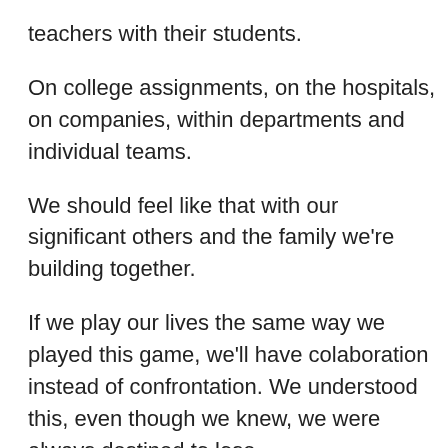teachers with their students.
On college assignments, on the hospitals, on companies, within departments and individual teams.
We should feel like that with our significant others and the family we're building together.
If we play our lives the same way we played this game, we'll have colaboration instead of confrontation. We understood this, even though we knew, we were always destined to lose.
Some of the challenges that I, as a self-taught